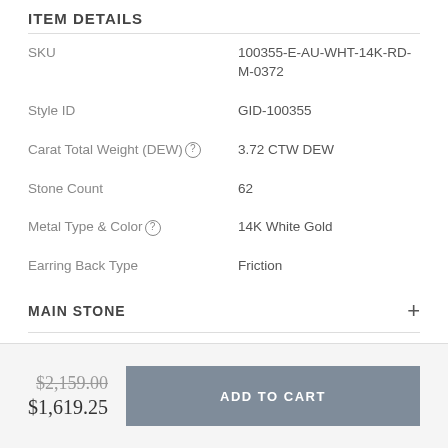ITEM DETAILS
| Label | Value |
| --- | --- |
| SKU | 100355-E-AU-WHT-14K-RD-M-0372 |
| Style ID | GID-100355 |
| Carat Total Weight (DEW)? | 3.72 CTW DEW |
| Stone Count | 62 |
| Metal Type & Color? | 14K White Gold |
| Earring Back Type | Friction |
MAIN STONE
$2,159.00 (strikethrough) $1,619.25
ADD TO CART